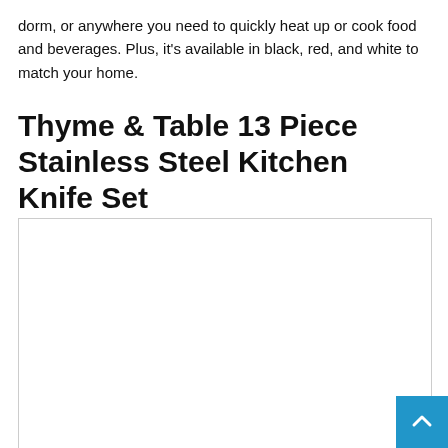dorm, or anywhere you need to quickly heat up or cook food and beverages. Plus, it's available in black, red, and white to match your home.
Thyme & Table 13 Piece Stainless Steel Kitchen Knife Set
[Figure (photo): Large white/blank image area with a light border, likely showing the Thyme & Table 13 Piece Stainless Steel Kitchen Knife Set product photo.]